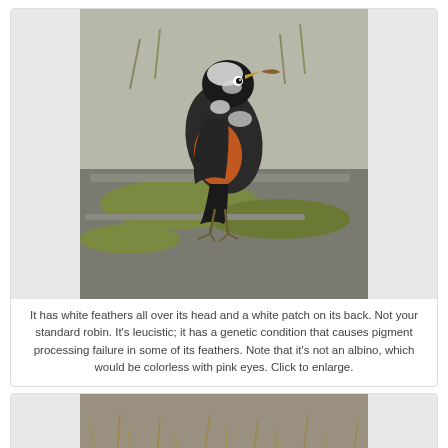[Figure (photo): American Robin bird standing on a moss-covered rock. The bird has dark gray/black back and wings, an orange-red breast, and notably white feathers on its head and a white patch on its back, indicating leucism. It appears to be holding something in its beak. The background shows a natural outdoor setting with rocks, grass, and dry vegetation.]
It has white feathers all over its head and a white patch on its back. Not your standard robin. It's leucistic; it has a genetic condition that causes pigment processing failure in some of its feathers. Note that it's not an albino, which would be colorless with pink eyes. Click to enlarge.
[Figure (photo): Partial view of another bird photograph, cropped at the bottom of the page. Shows ground-level outdoor scene with dry grass and soil, with a bird partially visible.]